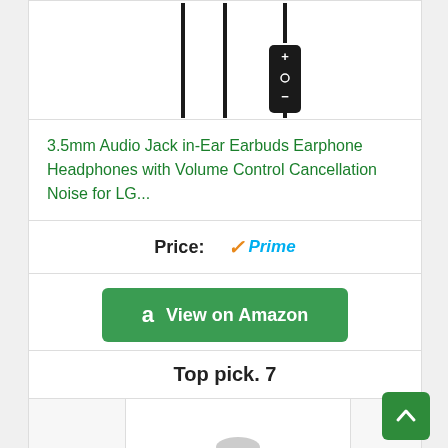[Figure (photo): Product image of earbuds/earphone cables with control module on dark background]
3.5mm Audio Jack in-Ear Earbuds Earphone Headphones with Volume Control Cancellation Noise for LG...
Price: ✓Prime
View on Amazon
Top pick. 7
[Figure (photo): Product image partially visible at bottom of page]